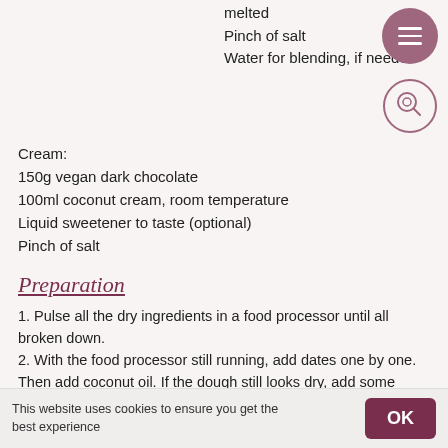melted
Pinch of salt
Water for blending, if needed
Cream:
150g vegan dark chocolate
100ml coconut cream, room temperature
Liquid sweetener to taste (optional)
Pinch of salt
Preparation
1. Pulse all the dry ingredients in a food processor until all broken down.
2. With the food processor still running, add dates one by one. Then add coconut oil. If the dough still looks dry, add some
This website uses cookies to ensure you get the best experience